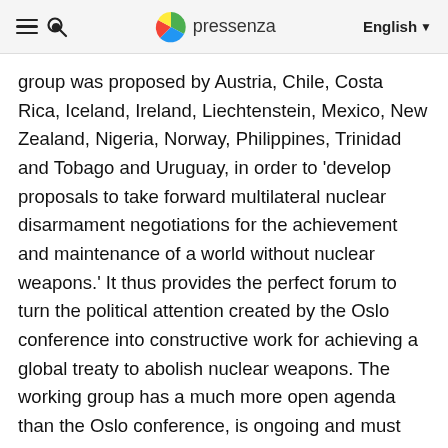pressenza  English
group was proposed by Austria, Chile, Costa Rica, Iceland, Ireland, Liechtenstein, Mexico, New Zealand, Nigeria, Norway, Philippines, Trinidad and Tobago and Uruguay, in order to 'develop proposals to take forward multilateral nuclear disarmament negotiations for the achievement and maintenance of a world without nuclear weapons.' It thus provides the perfect forum to turn the political attention created by the Oslo conference into constructive work for achieving a global treaty to abolish nuclear weapons. The working group has a much more open agenda than the Oslo conference, is ongoing and must report back to the UN General Assembly on progress. The measure of success in Oslo will thus not be the number of States that turn up or the quality of speeches, but the degree to which States